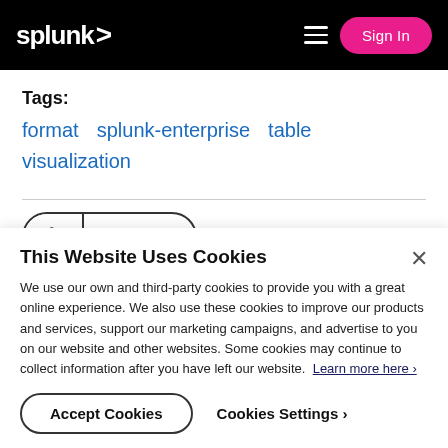splunk> Sign In
Tags:
format
splunk-enterprise
table
visualization
0 Karma
This Website Uses Cookies
We use our own and third-party cookies to provide you with a great online experience. We also use these cookies to improve our products and services, support our marketing campaigns, and advertise to you on our website and other websites. Some cookies may continue to collect information after you have left our website. Learn more here ›
Accept Cookies   Cookies Settings ›